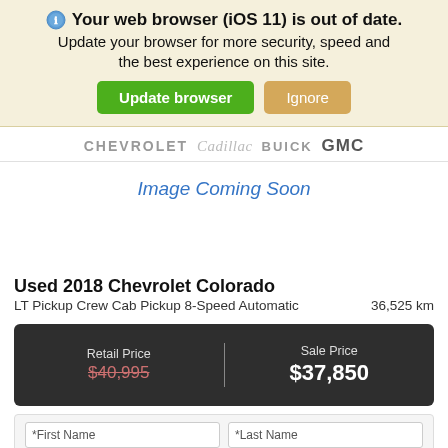Your web browser (iOS 11) is out of date. Update your browser for more security, speed and the best experience on this site.
Update browser | Ignore
[Figure (logo): Chevrolet Cadillac Buick GMC dealer logos]
Image Coming Soon
Used 2018 Chevrolet Colorado
LT Pickup Crew Cab Pickup 8-Speed Automatic    36,525 km
| Retail Price | Sale Price |
| --- | --- |
| $40,995 | $37,850 |
*First Name    *Last Name